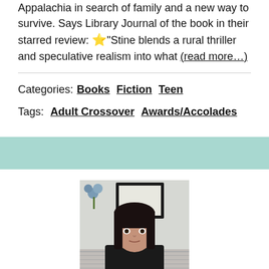Appalachia in search of family and a new way to survive. Says Library Journal of the book in their starred review: ⭐“Stine blends a rural thriller and speculative realism into what (read more…)
Categories: Books Fiction Teen
Tags: Adult Crossover Awards/Accolades
[Figure (photo): Portrait photo of a woman with dark hair and bangs, sitting indoors in front of a framed picture and some blue flowers. She is wearing dark clothing and looking directly at the camera.]